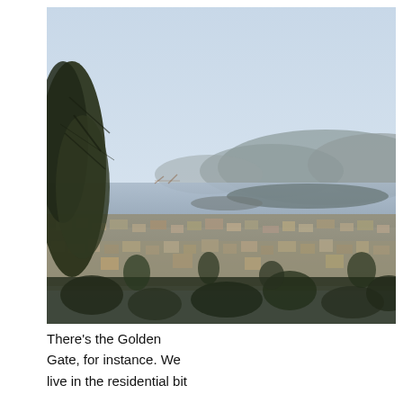[Figure (photo): Aerial view of a residential neighborhood in the San Francisco Bay Area, with San Francisco Bay and hills in the background. A tree is visible in the upper left corner. The Golden Gate Bridge towers are faintly visible in the distant left.]
There's the Golden Gate, for instance. We live in the residential bit